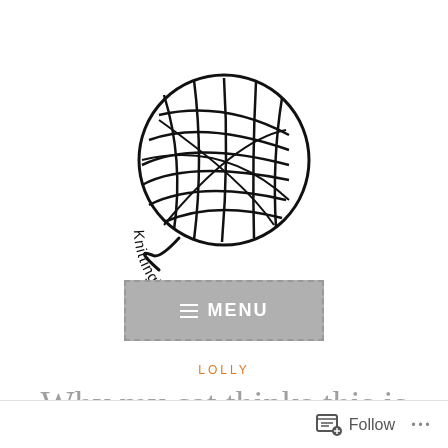[Figure (logo): KnittingInterrupted logo: a ball of yarn with text 'KnittingInterrupted' curved around the bottom]
[Figure (other): Menu button with hamburger icon and text MENU, gray background with dashed border]
LOLLY
Why my cat thinks this is the worst
[Figure (other): WordPress Follow bar at the bottom with Follow button and three-dot menu]